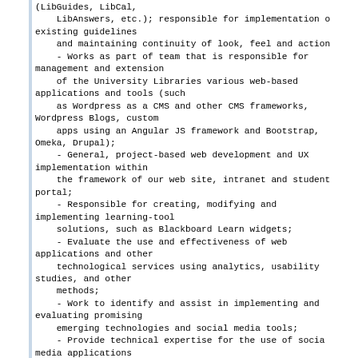(LibGuides, LibCal,
    LibAnswers, etc.); responsible for implementation of existing guidelines
    and maintaining continuity of look, feel and action
    - Works as part of team that is responsible for management and extension
    of the University Libraries various web-based applications and tools (such
    as Wordpress as a CMS and other CMS frameworks, Wordpress Blogs, custom
    apps using an Angular JS framework and Bootstrap, Omeka, Drupal);
    - General, project-based web development and UX implementation within
    the framework of our web site, intranet and student portal;
    - Responsible for creating, modifying and implementing learning-tool
    solutions, such as Blackboard Learn widgets;
    - Evaluate the use and effectiveness of web applications and other
    technological services using analytics, usability studies, and other
    methods;
    - Work to identify and assist in implementing and evaluating promising
    emerging technologies and social media tools;
    - Provide technical expertise for the use of social media applications
    and tools;
    - Other duties as they arise